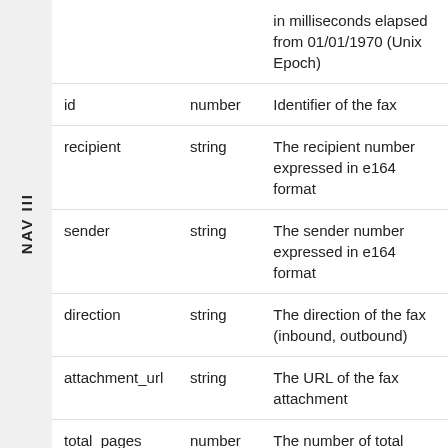NAV III
| Field | Type | Description |
| --- | --- | --- |
|  |  | in milliseconds elapsed from 01/01/1970 (Unix Epoch) |
| id | number | Identifier of the fax |
| recipient | string | The recipient number expressed in e164 format |
| sender | string | The sender number expressed in e164 format |
| direction | string | The direction of the fax (inbound, outbound) |
| attachment_url | string | The URL of the fax attachment |
| total_pages | number | The number of total page of the fax attachment |
| description | string | The fax description (only present if outbound faxes) |